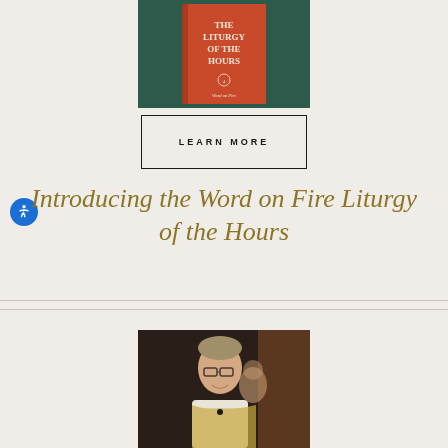[Figure (photo): Book cover for 'The Liturgy of the Hours' on a dark green background, red/orange cover]
LEARN MORE
Introducing the Word on Fire Liturgy of the Hours
[Figure (photo): Photo of a smiling older man wearing glasses and liturgical vestments (white alb with golden chasuble), with a woman partially visible behind him]